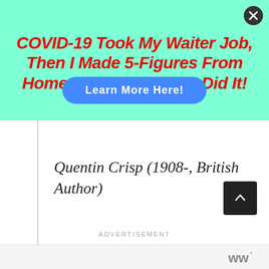[Figure (screenshot): Advertisement banner with teal/mint background. Large bold italic red text reads 'COVID-19 Took My Waiter Job, Then I Made 5-Figures From Home...Discover How I Did It!' with a blue oval 'Learn More Here!' button overlaid in the center. A close (X) button appears in the top right corner.]
Quentin Crisp (1908-, British Author)
ADVERTISEMENT
[Figure (logo): Small logo in bottom right corner consisting of dark gray letter-like marks with a degree symbol, resembling 'ww°']